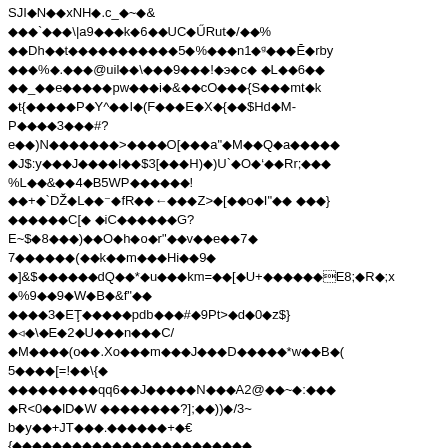SJI◆N◆◆xNH◆.c_◆~◆&
◆◆◆`◆◆◆\|a9◆◆◆k◆◆6◆◆UC◆ŰRut◆/◆◆%
◆◆Dh◆◆t◆◆◆◆◆◆◆◆◆◆◆5◆%◆◆◆n1◆ᴍ◆◆◆Ē◆rby
◆◆◆%◆.◆◆◆@uil◆◆\◆◆◆9◆◆◆!◆э◆c◆ ◆L◆◆6◆◆
◆◆_◆◆e◆◆◆◆◆pw◆◆◆i◆&◆◆cO◆◆◆{S◆◆◆mt◆k
◆t{◆◆◆◆◆P◆Y^◆◆I◆(F◆◆◆E◆X◆{◆◆$Hd◆M-
P◆◆◆◆3◆◆◆#?
e◆◆)N◆◆◆◆◆◆◆>◆◆◆◆O[◆◆◆a"◆M◆◆Q◆a◆◆◆◆◆
◆J$:y◆◆◆J◆◆◆◆l◆◆$3[◆◆◆H)◆)U`◆O◆’◆◆Rr;◆◆◆
%L◆◆&◆◆4◆B5WP◆◆◆◆◆◆!
◆◆+◆`DŽ◆L◆◆◆⁻◆fR◆◆←◆◆◆Z>◆[◆◆o◆I"◆◆ ◆◆◆}
◆◆◆◆◆◆C[◆ ◆iC◆◆◆◆◆◆G?
E~$◆8◆◆◆)◆◆O◆h◆o◆r"◆◆v◆◆e◆◆7◆
7◆◆◆◆◆◆(◆◆k◆◆m◆◆◆Hi◆◆9◆
◆]&$◆◆◆◆◆◆dQ◆◆*◆u◆◆◆km=◆◆[◆U+◆◆◆◆◆◆Ǩ◆R◆;x
◆%9◆◆9◆W◆B◆&f"◆◆
◆◆◆◆3◆ET◆◆◆◆◆pdb◆◆◆#◆9Pt>◆d◆0◆z$}
◆◂◆\◆E◆2◆U◆◆◆n◆◆◆C/
◆M◆◆◆◆(o◆◆.Xo◆◆◆m◆◆◆J◆◆◆D◆◆◆◆◆*w◆◆B◆(
5◆◆◆◆[=!◆◆\◆{◆
◆◆◆◆◆◆◆◆◆qq6◆◆J◆◆◆◆◆N◆◆◆A2@◆◆~◆:◆◆◆
◆R<0◆◆lD◆W ◆◆◆◆◆◆◆◆?];◆◆))◆/3~
b◆y◆◆+JT◆◆◆.◆◆◆◆◆◆+◆€
{◆◆◆◆◆◆◆◆◆◆◆◆◆◆◆◆◆◆◆◆◆◆◆◆